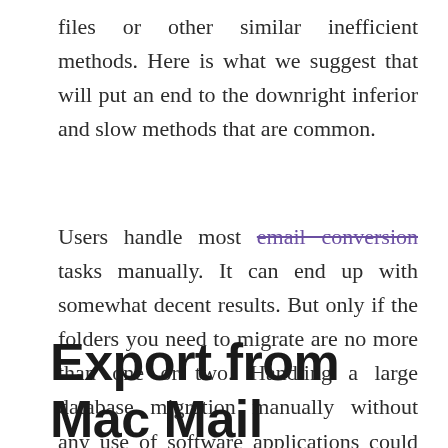files or other similar inefficient methods. Here is what we suggest that will put an end to the downright inferior and slow methods that are common.
Users handle most email conversion tasks manually. It can end up with somewhat decent results. But only if the folders you need to migrate are no more than one or two. Handling a large database migration manually without any use of software applications could be disastrous, both to your data and productivity.
Export from Mac Mail